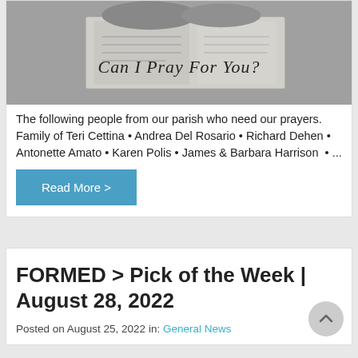[Figure (photo): Black and white photo of hands over an open book/Bible with cursive text overlay reading 'Can I Pray For You?']
The following people from our parish who need our prayers.  Family of Teri Cettina • Andrea Del Rosario • Richard Dehen • Antonette Amato • Karen Polis • James & Barbara Harrison  • ...
Read More >
FORMED > Pick of the Week | August 28, 2022
Posted on August 25, 2022 in: General News